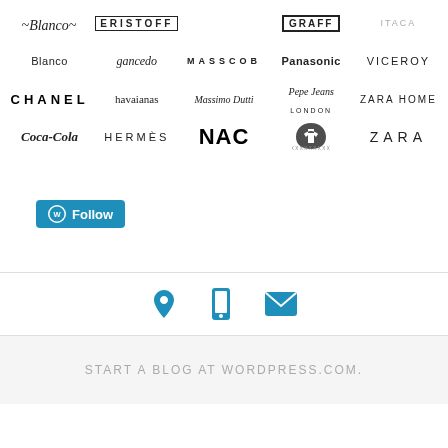[Figure (logo): Grid of brand logos including Blanco, Gancedo, MASSCOB, Panasonic, VICEROY, CHANEL, havaianas, Massimo Dutti, Pepe Jeans London, ZARA HOME, Coca-Cola, HERMÈS, NAC, Peugeot, ZARA, plus Eristoff, Graff, Itaca in top row]
[Figure (other): WordPress Follow button]
[Figure (other): Contact icons: location pin, mobile phone, envelope]
START A BLOG AT WORDPRESS.COM.